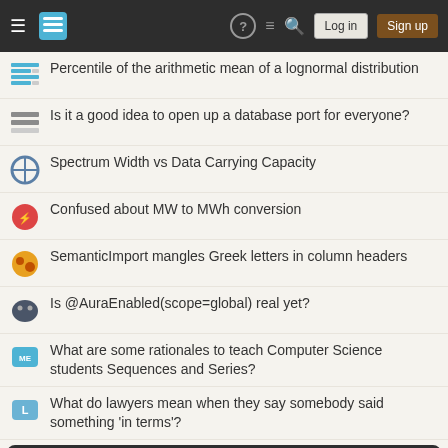Stack Exchange navigation bar with hamburger menu, logo, help, chat, search, Log in, Sign up
Percentile of the arithmetic mean of a lognormal distribution
Is it a good idea to open up a database port for everyone?
Spectrum Width vs Data Carrying Capacity
Confused about MW to MWh conversion
SemanticImport mangles Greek letters in column headers
Is @AuraEnabled(scope=global) real yet?
What are some rationales to teach Computer Science students Sequences and Series?
What do lawyers mean when they say somebody said something 'in terms'?
Your privacy
By clicking "Accept all cookies", you agree Stack Exchange can store cookies on your device and disclose information in accordance with our Cookie Policy.
Accept all cookies | Customize settings
Distribute evenly such that object spacing to page margins = spacing